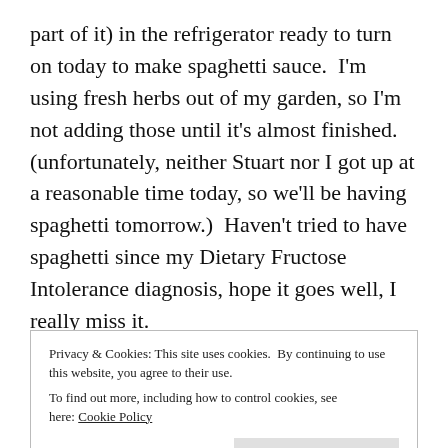part of it) in the refrigerator ready to turn on today to make spaghetti sauce.  I'm using fresh herbs out of my garden, so I'm not adding those until it's almost finished.  (unfortunately, neither Stuart nor I got up at a reasonable time today, so we'll be having spaghetti tomorrow.)  Haven't tried to have spaghetti since my Dietary Fructose Intolerance diagnosis, hope it goes well, I really miss it.
Today.  Again, I'm mainly flat on my back, but I'm also doing laundry.  So a bit of getting up and down, but it feels good to do it.
The Artist's Way workshop...well, that isn't going so
Privacy & Cookies: This site uses cookies. By continuing to use this website, you agree to their use.
To find out more, including how to control cookies, see here: Cookie Policy
Close and accept
anything like that.  Ummm, no reading?  Well, that